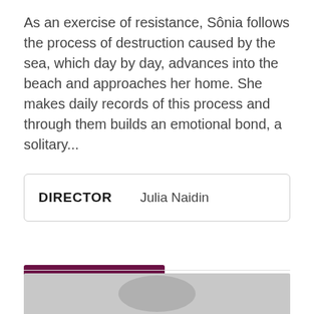As an exercise of resistance, Sônia follows the process of destruction caused by the sea, which day by day, advances into the beach and approaches her home. She makes daily records of this process and through them builds an emotional bond, a solitary...
| DIRECTOR | Julia Naidin |
SEE DETAILS
[Figure (photo): Partial photo strip visible at the bottom of the page, showing a blurred/grey image]